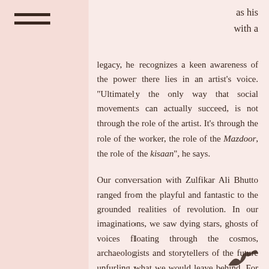as his
with a
legacy, he recognizes a keen awareness of the power there lies in an artist's voice. "Ultimately the only way that social movements can actually succeed, is not through the role of the artist. It's through the role of the worker, the role of the Mazdoor, the role of the kisaan", he says.

Our conversation with Zulfikar Ali Bhutto ranged from the playful and fantastic to the grounded realities of revolution. In our imaginations, we saw dying stars, ghosts of voices floating through the cosmos, archaeologists and storytellers of the future unfurling what we would leave behind. For some moments during our talk, we experienced a heightened awareness of our personal histories. It was only natural to ponder the potential that Queer Muslim Futures hold.